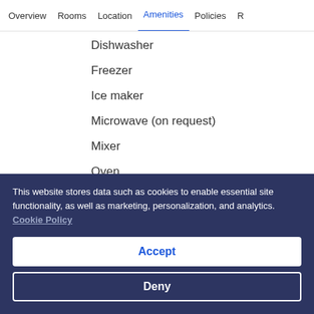Overview  Rooms  Location  Amenities  Policies  R
Dishwasher
Freezer
Ice maker
Microwave (on request)
Mixer
Oven
Paper towels
Fridge
Shared kitchen access
This website stores data such as cookies to enable essential site functionality, as well as marketing, personalization, and analytics. Cookie Policy
Accept
Deny